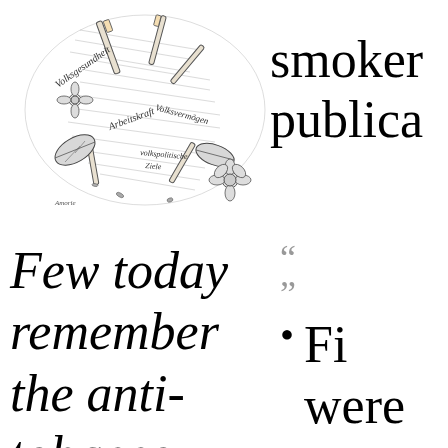[Figure (illustration): Pen-and-ink illustration showing scattered cigarettes, tobacco leaves, flowers, and handwritten German text including 'Volksgesundheit', 'Arbeitskraft', 'Volksvermögen', and 'volkspolitische Ziele']
smoker
publica
Few today
remember
the anti-
tobacco
.
“
• Fi
were
hims
are ca